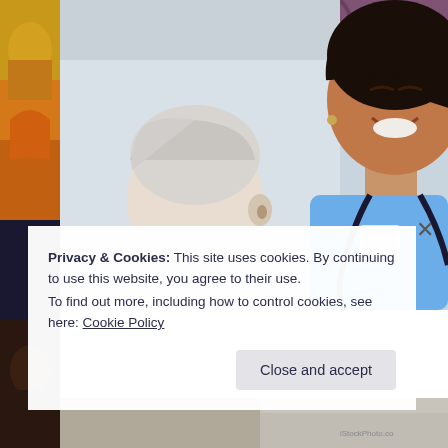[Figure (photo): A smiling female nurse in blue scrubs with a stethoscope talking with an elderly white-haired patient. Left strip shows partial comic/illustration artwork. Background is a medical care setting.]
Privacy & Cookies: This site uses cookies. By continuing to use this website, you agree to their use.
To find out more, including how to control cookies, see here: Cookie Policy
Close and accept